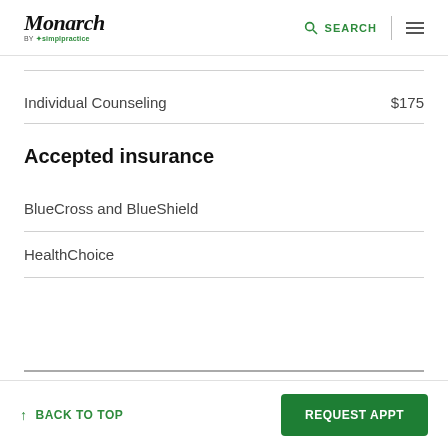Monarch by SimplePractice | SEARCH
Individual Counseling  $175
Accepted insurance
BlueCross and BlueShield
HealthChoice
↑ BACK TO TOP | REQUEST APPT